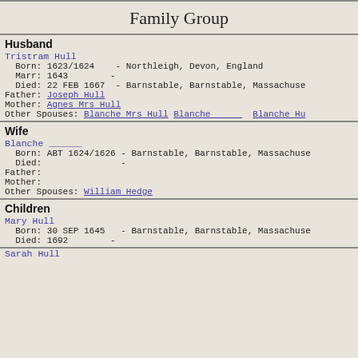Family Group
Husband
Tristram Hull
  Born: 1623/1624    - Northleigh, Devon, England
  Marr: 1643         -
  Died: 22 FEB 1667  - Barnstable, Barnstable, Massachusetts
Father: Joseph Hull
Mother: Agnes Mrs Hull
Other Spouses: Blanche Mrs Hull  Blanche        Blanche Hu...
Wife
Blanche _____
  Born: ABT 1624/1626 - Barnstable, Barnstable, Massachusetts
  Died:               -
Father:
Mother:
Other Spouses: William Hedge
Children
Mary Hull
  Born: 30 SEP 1645   - Barnstable, Barnstable, Massachusetts
  Died: 1692          -
Sarah Hull